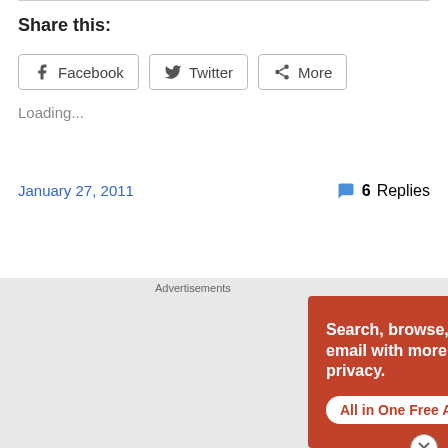Share this:
Facebook
Twitter
More
Loading...
January 27, 2011
6 Replies
Advertisements
[Figure (screenshot): DuckDuckGo advertisement banner: orange background with white text 'Search, browse, and email with more privacy. All in One Free App' and image of smartphone with DuckDuckGo logo]